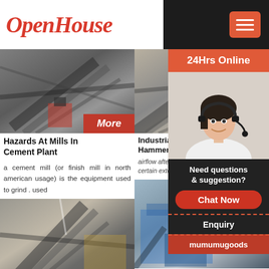OpenHouse
[Figure (photo): Industrial mill machinery at cement plant, conveyor belts and steel framework]
Hazards At Mills In Cement Plant
a cement mill (or finish mill in north american usage) is the equipment used to grind . used
[Figure (photo): Industrial crushers/conveyor belt machinery at mining site]
Industrial Crushers - Hammer Mill Manufacturer
airflow after being found by the grinding to certain extent. Hammer Mill of cement, co
[Figure (photo): Induction motor and grinding mill equipment at cement plant]
Induction Motors For Grinding Mill In Cement
[Figure (photo): Cement grinding equipment with blue machinery]
The Cemen
[Figure (photo): 24Hrs Online chat widget with customer service representative wearing headset]
24Hrs Online
Need questions & suggestion?
Chat Now
Enquiry
mumumugoods